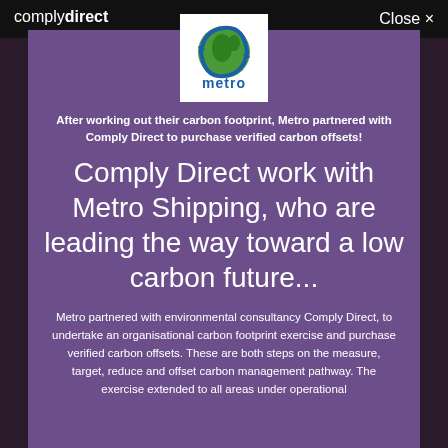comply direct   Close ×
[Figure (logo): Metro Shipping logo: globe icon with green Africa/Europe and blue arrows, 'metro' text in blue below]
After working out their carbon footprint, Metro partnered with Comply Direct to purchase verified carbon offsets!
Comply Direct work with Metro Shipping, who are leading the way toward a low carbon future...
Metro partnered with environmental consultancy Comply Direct, to undertake an organisational carbon footprint exercise and purchase verified carbon offsets. These are both steps on the measure, target, reduce and offset carbon management pathway. The exercise extended to all areas under operational